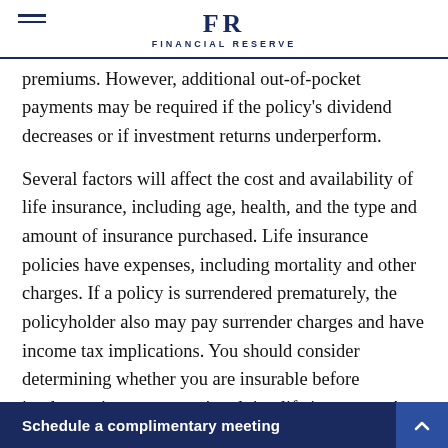FR FINANCIAL RESERVE
premiums. However, additional out-of-pocket payments may be required if the policy's dividend decreases or if investment returns underperform.
Several factors will affect the cost and availability of life insurance, including age, health, and the type and amount of insurance purchased. Life insurance policies have expenses, including mortality and other charges. If a policy is surrendered prematurely, the policyholder also may pay surrender charges and have income tax implications. You should consider determining whether you are insurable before implementing a strategy involving life insurance. Any guarantees associated with a policy are dep...
Schedule a complimentary meeting